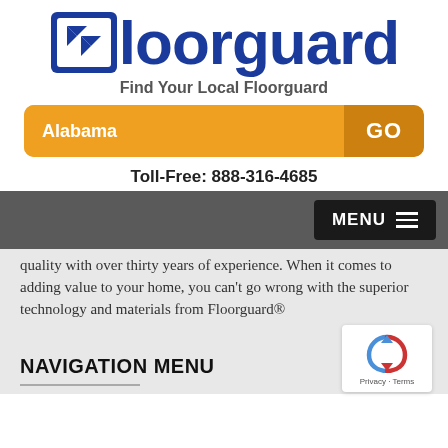[Figure (logo): Floorguard logo with blue square icon containing white double-arrow chevron and blue bold text 'loorguard']
Find Your Local Floorguard
[Figure (infographic): Orange state selector bar showing 'Alabama' on the left and a darker orange 'GO' button on the right]
Toll-Free: 888-316-4685
[Figure (screenshot): Dark gray navigation bar with black MENU button with hamburger icon on the right]
quality with over thirty years of experience. When it comes to adding value to your home, you can't go wrong with the superior technology and materials from Floorguard®
NAVIGATION MENU
[Figure (logo): reCAPTCHA badge with blue circular arrow logo and 'Privacy · Terms' text]